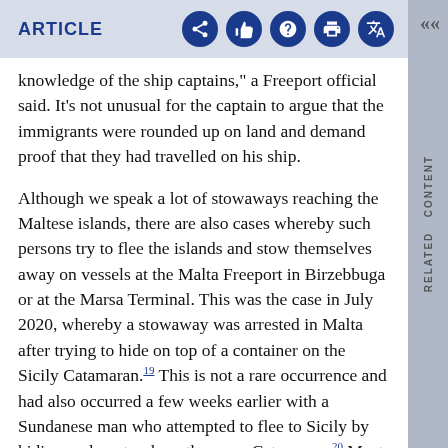ARTICLE
knowledge of the ship captains," a Freeport official said. It's not unusual for the captain to argue that the immigrants were rounded up on land and demand proof that they had travelled on his ship.
Although we speak a lot of stowaways reaching the Maltese islands, there are also cases whereby such persons try to flee the islands and stow themselves away on vessels at the Malta Freeport in Birzebbuga or at the Marsa Terminal. This was the case in July 2020, whereby a stowaway was arrested in Malta after trying to hide on top of a container on the Sicily Catamaran.19 This is not a rare occurrence and had also occurred a few weeks earlier with a Sundanese man who attempted to flee to Sicily by hiding under a truck on the same Catamaran.20 Most of the stowaways leaving the island do so after having escaped detention in Malta. It has been reported that the treatment of migrants in Maltese Detention Centres is not entirely humanitarian, however it is significant to point